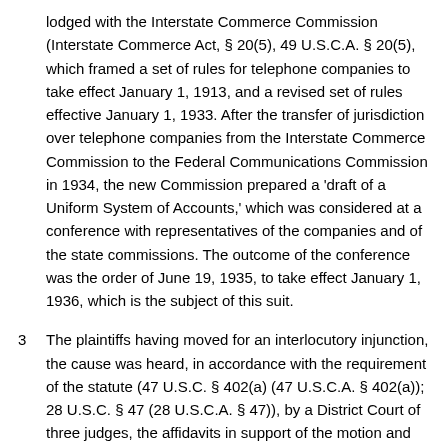lodged with the Interstate Commerce Commission (Interstate Commerce Act, § 20(5), 49 U.S.C.A. § 20(5), which framed a set of rules for telephone companies to take effect January 1, 1913, and a revised set of rules effective January 1, 1933. After the transfer of jurisdiction over telephone companies from the Interstate Commerce Commission to the Federal Communications Commission in 1934, the new Commission prepared a 'draft of a Uniform System of Accounts,' which was considered at a conference with representatives of the companies and of the state commissions. The outcome of the conference was the order of June 19, 1935, to take effect January 1, 1936, which is the subject of this suit.
3  The plaintiffs having moved for an interlocutory injunction, the cause was heard, in accordance with the requirement of the statute (47 U.S.C. § 402(a) (47 U.S.C.A. § 402(a)); 28 U.S.C. § 47 (28 U.S.C.A. § 47)), by a District Court of three judges, the affidavits in support of the motion and against it being also submitted for and against the final decree. Five provisions of the order were attacked as arbitrary. The District Court sustained two objections of minor importance, which are not in controversy now, and overruled the others. One of these was directed to the 'original cost' rule; the second to a provision as to 'just and reasonable' charges; the third to a classification dividing plants in present use from those held for use